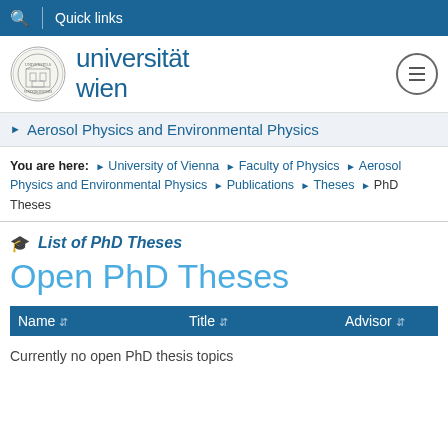Quick links
[Figure (logo): Universität Wien logo with seal and text]
Aerosol Physics and Environmental Physics
You are here: › University of Vienna › Faculty of Physics › Aerosol Physics and Environmental Physics › Publications › Theses › PhD Theses
List of PhD Theses
Open PhD Theses
| Name | Title | Advisor |
| --- | --- | --- |
Currently no open PhD thesis topics